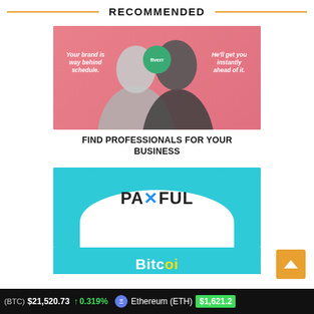RECOMMENDED
[Figure (photo): Fiverr advertisement showing two people (a woman and a man) on a pink background with text 'Your brand is way behind schedule. He'll get you instantly ahead of it.' and the Fiverr logo]
FIND PROFESSIONALS FOR YOUR BUSINESS
[Figure (logo): Paxful advertisement with cyan/blue background showing the PAXFUL logo on a white rounded pocket shape]
[Figure (photo): Partial Bitcoin-related advertisement with cyan background and white text partially visible]
(BTC) $21,520.73 ↑ 0.319% Ethereum (ETH) $1,621.2